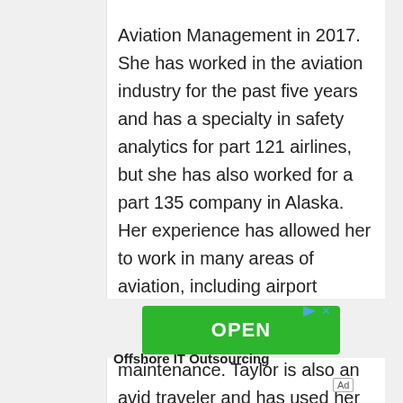Aviation Management in 2017. She has worked in the aviation industry for the past five years and has a specialty in safety analytics for part 121 airlines, but she has also worked for a part 135 company in Alaska. Her experience has allowed her to work in many areas of aviation, including airport operations, flight operations, security, inflight, dispatch, and maintenance. Taylor is also an avid traveler and has used her flight benefits to fly on as many airlines and aircraft types as possible.
[Figure (other): Green OPEN button advertisement banner with play and close icons]
Offshore IT Outsourcing
Ad